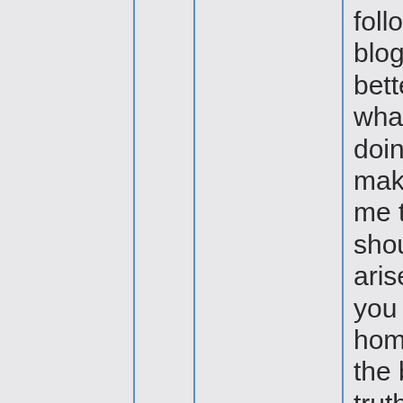following your blog to get a better idea of what you are doing and to make it easier for me to contact you should the need arise. I like what you say about homosexuality on the blog–“The truth of the matter is, most of us (including myself!) wish we lived in a